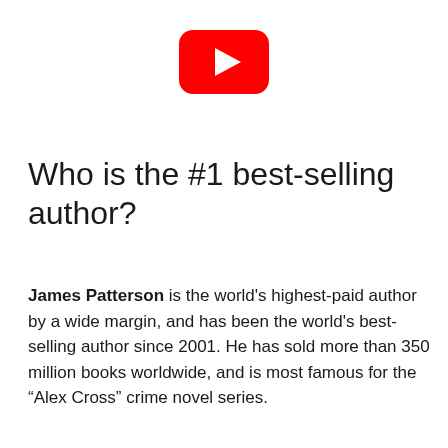[Figure (logo): YouTube play button logo — red rounded rectangle with white triangle pointing right]
Who is the #1 best-selling author?
James Patterson is the world's highest-paid author by a wide margin, and has been the world's best-selling author since 2001. He has sold more than 350 million books worldwide, and is most famous for the “Alex Cross” crime novel series.